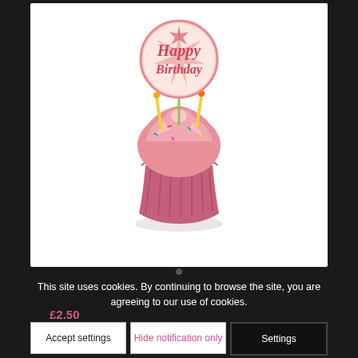[Figure (photo): A pink frosted cupcake with a round 'Happy Birthday' disc topper decorated with colorful sprinkles, displayed on a white background.]
This site uses cookies. By continuing to browse the site, you are agreeing to our use of cookies.
£2.50
Accept settings
Hide notification only
Settings